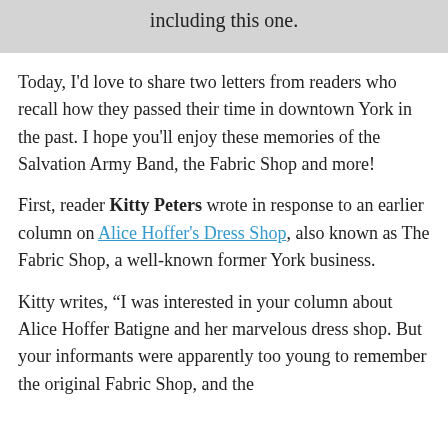including this one.
Today, I'd love to share two letters from readers who recall how they passed their time in downtown York in the past. I hope you'll enjoy these memories of the Salvation Army Band, the Fabric Shop and more!
First, reader Kitty Peters wrote in response to an earlier column on Alice Hoffer's Dress Shop, also known as The Fabric Shop, a well-known former York business.
Kitty writes, “I was interested in your column about Alice Hoffer Batigne and her marvelous dress shop. But your informants were apparently too young to remember the original Fabric Shop, and the